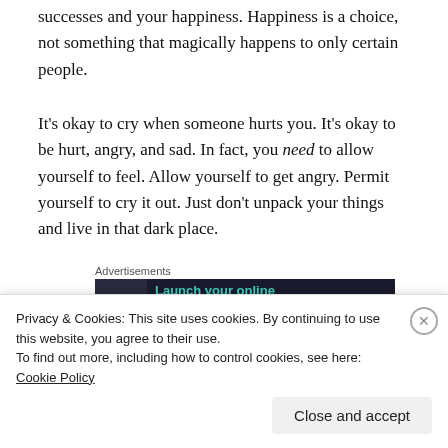successes and your happiness. Happiness is a choice, not something that magically happens to only certain people.
It’s okay to cry when someone hurts you. It’s okay to be hurt, angry, and sad. In fact, you need to allow yourself to feel. Allow yourself to get angry. Permit yourself to cry it out. Just don’t unpack your things and live in that dark place.
[Figure (other): Advertisement banner with dark background showing 'Launch your online course with WordPress' with a Learn More button and a tree/person icon]
Privacy & Cookies: This site uses cookies. By continuing to use this website, you agree to their use.
To find out more, including how to control cookies, see here: Cookie Policy